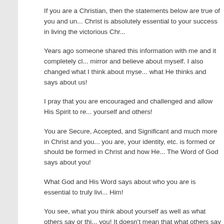If you are a Christian, then the statements below are true of you and un... Christ is absolutely essential to your success in living the victorious Chr...
Years ago someone shared this information with me and it completely ch... mirror and believe about myself. I also changed what I think about myse... what He thinks and says about us!
I pray that you are encouraged and challenged and allow His Spirit to re... yourself and others!
You are Secure, Accepted, and Significant and much more in Christ and you... you are, your identity, etc. is formed or should be formed in Christ and how He... The Word of God says about you!
What God and His Word says about who you are is essential to truly livi... Him!
You see, what you think about yourself as well as what others say or thi... you! It doesn't mean that what others say about us doesn't temporarily e... some way, because it does, rather what they say doesn't change who w...
May you walk in newness each day, walk and operate in His resurrectio... salvation and who you are in Him!